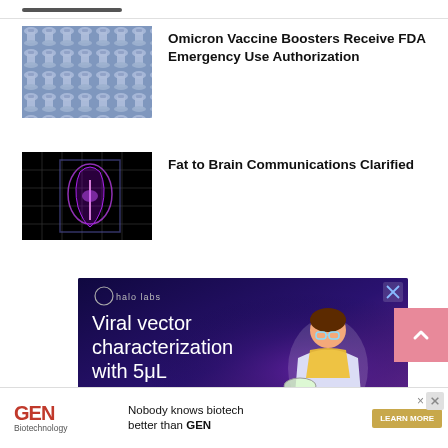Omicron Vaccine Boosters Receive FDA Emergency Use Authorization
[Figure (photo): Rows of vaccine vials viewed from above]
Fat to Brain Communications Clarified
[Figure (photo): Dark background with glowing purple brain/joint scan illustration]
[Figure (illustration): Halo Labs advertisement: Viral vector characterization with 5μL, showing scientist illustration on purple/dark background]
[Figure (other): GEN Biotechnology advertisement: Nobody knows biotech better than GEN, with LEARN MORE button]